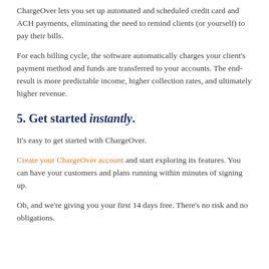ChargeOver lets you set up automated and scheduled credit card and ACH payments, eliminating the need to remind clients (or yourself) to pay their bills.
For each billing cycle, the software automatically charges your client's payment method and funds are transferred to your accounts. The end-result is more predictable income, higher collection rates, and ultimately higher revenue.
5. Get started instantly.
It's easy to get started with ChargeOver.
Create your ChargeOver account and start exploring its features. You can have your customers and plans running within minutes of signing up.
Oh, and we're giving you your first 14 days free. There's no risk and no obligations.